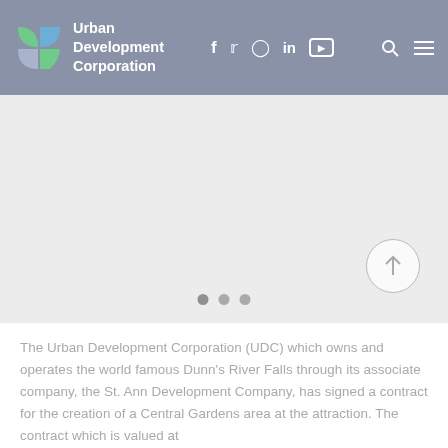Urban Development Corporation
[Figure (screenshot): Large image/carousel placeholder area with three grey navigation dots at bottom center and a scroll-up arrow button at bottom right]
The Urban Development Corporation (UDC) which owns and operates the world famous Dunn's River Falls through its associate company, the St. Ann Development Company, has signed a contract for the creation of a Central Gardens area at the attraction. The contract which is valued at